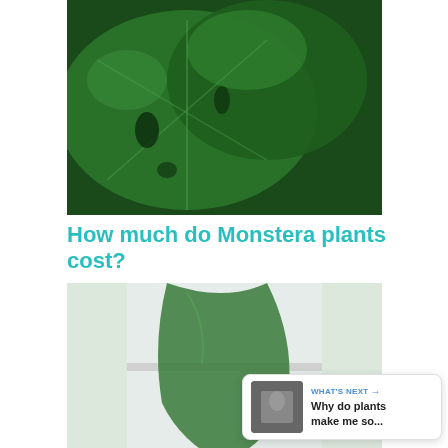[Figure (photo): Close-up of large dark green Monstera plant leaves with characteristic holes and splits]
How much do Monstera plants cost?
[Figure (photo): Close-up of a Monstera leaf dripping water from its tip, held near a window]
Why is my monstera weeping?
[Figure (photo): Tropical garden scene with palm trees and bright light shining through foliage]
[Figure (infographic): Floating UI buttons: heart (favorite) button and share button, plus a What's Next recommendation card showing 'Why do plants make me so...']